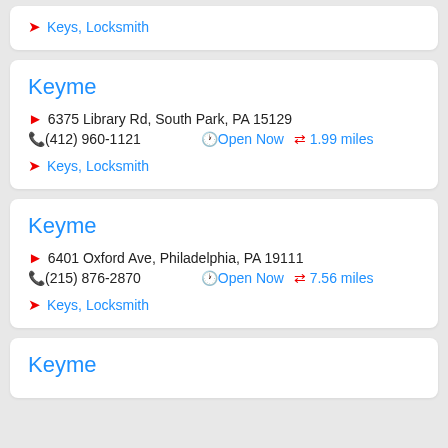Keys, Locksmith
Keyme
6375 Library Rd, South Park, PA 15129
(412) 960-1121  Open Now  1.99 miles
Keys, Locksmith
Keyme
6401 Oxford Ave, Philadelphia, PA 19111
(215) 876-2870  Open Now  7.56 miles
Keys, Locksmith
Keyme